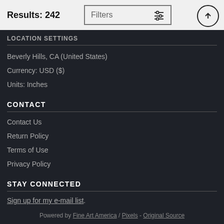Results: 242
Filters
LOCATION SETTINGS
Beverly Hills, CA (United States)
Currency: USD ($)
Units: Inches
CONTACT
Contact Us
Return Policy
Terms of Use
Privacy Policy
STAY CONNECTED
Sign up for my e-mail list.
Powered by Fine Art America / Pixels - Original Source